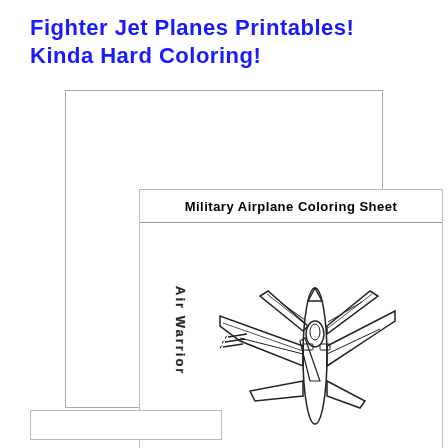Fighter Jet Planes Printables! Kinda Hard Coloring!
[Figure (illustration): A military airplane coloring sheet titled 'Military Airplane Coloring Sheet' showing a top-down view of a fighter jet (F-16 style) with 'Air Warrior' text written vertically on the left side. The YesColoring.com logo with mascot characters appears in the bottom right corner.]
[Figure (illustration): Partially visible thumbnail of another coloring sheet at the bottom of the page.]